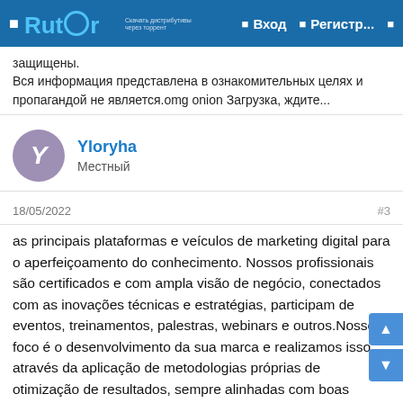Rutor — Вход  Регистр...
защищены.
Вся информация представлена в ознакомительных целях и пропагандой не является.omg onion Загрузка, ждите...
Yloryha
Местный
18/05/2022  #3
as principais plataformas e veículos de marketing digital para o aperfeiçoamento do conhecimento. Nossos profissionais são certificados e com ampla visão de negócio, conectados com as inovações técnicas e estratégias, participam de eventos, treinamentos, palestras, webinars e outros.Nosso foco é o desenvolvimento da sua marca e realizamos isso através da aplicação de metodologias próprias de otimização de resultados, sempre alinhadas com boas práticas em mídia, business intelligence, e-mail marketing, design gráfico, SEO e redes sociais.Isso é Great Place to Work. Isso é Adtail.Nosso